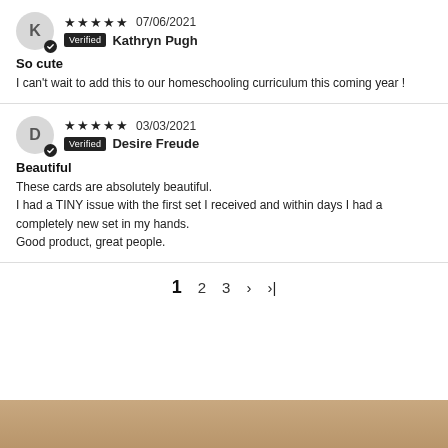★★★★★ 07/06/2021 Verified Kathryn Pugh
So cute
I can't wait to add this to our homeschooling curriculum this coming year !
★★★★★ 03/03/2021 Verified Desire Freude
Beautiful
These cards are absolutely beautiful.
I had a TINY issue with the first set I received and within days I had a completely new set in my hands.
Good product, great people.
1  2  3  ›  ›|